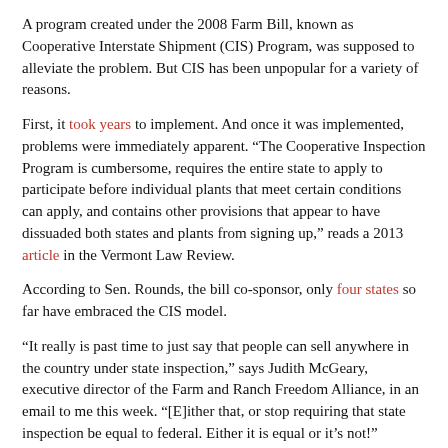A program created under the 2008 Farm Bill, known as Cooperative Interstate Shipment (CIS) Program, was supposed to alleviate the problem. But CIS has been unpopular for a variety of reasons.
First, it took years to implement. And once it was implemented, problems were immediately apparent. “The Cooperative Inspection Program is cumbersome, requires the entire state to apply to participate before individual plants that meet certain conditions can apply, and contains other provisions that appear to have dissuaded both states and plants from signing up,” reads a 2013 article in the Vermont Law Review.
According to Sen. Rounds, the bill co-sponsor, only four states so far have embraced the CIS model.
“It really is past time to just say that people can sell anywhere in the country under state inspection,” says Judith McGeary, executive director of the Farm and Ranch Freedom Alliance, in an email to me this week. “[E]ither that, or stop requiring that state inspection be equal to federal. Either it is equal or it’s not!”